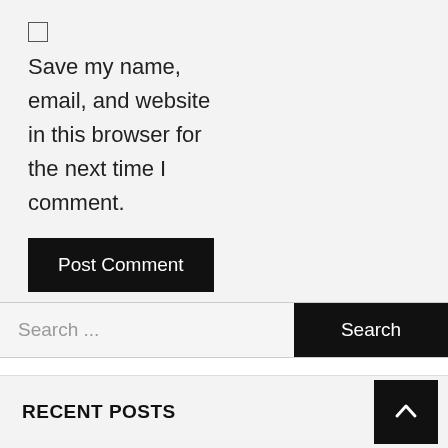Save my name, email, and website in this browser for the next time I comment.
Post Comment
Search ...
RECENT POSTS